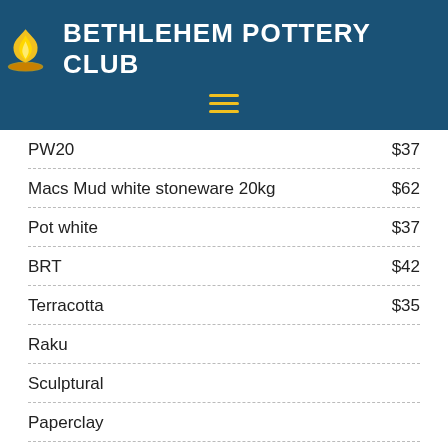BETHLEHEM POTTERY CLUB
| Item | Price |
| --- | --- |
| PW20 | $37 |
| Macs Mud white stoneware 20kg | $62 |
| Pot white | $37 |
| BRT | $42 |
| Terracotta | $35 |
| Raku |  |
| Sculptural |  |
| Paperclay |  |
Please note prices are GST inclusive and are for non-members. Clay prices and stock varies depending on current availability